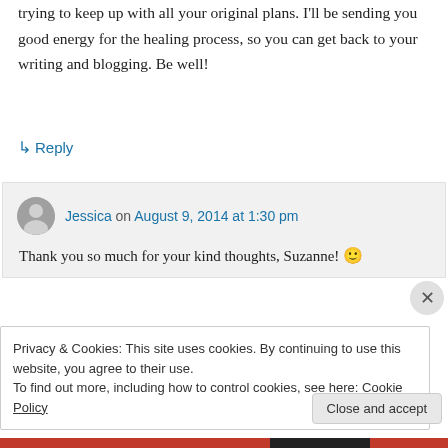trying to keep up with all your original plans. I'll be sending you good energy for the healing process, so you can get back to your writing and blogging. Be well!
↳ Reply
Jessica on August 9, 2014 at 1:30 pm
Thank you so much for your kind thoughts, Suzanne! 🙂
Privacy & Cookies: This site uses cookies. By continuing to use this website, you agree to their use.
To find out more, including how to control cookies, see here: Cookie Policy
Close and accept